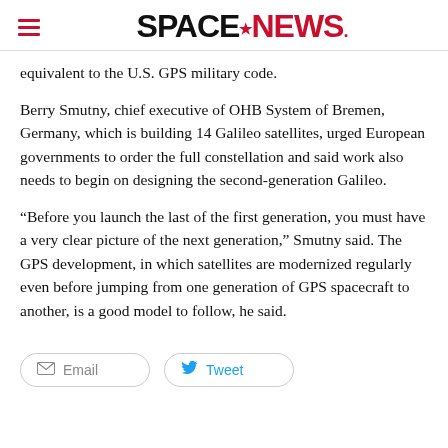SPACENEWS
equivalent to the U.S. GPS military code.
Berry Smutny, chief executive of OHB System of Bremen, Germany, which is building 14 Galileo satellites, urged European governments to order the full constellation and said work also needs to begin on designing the second-generation Galileo.
“Before you launch the last of the first generation, you must have a very clear picture of the next generation,” Smutny said. The GPS development, in which satellites are modernized regularly even before jumping from one generation of GPS spacecraft to another, is a good model to follow, he said.